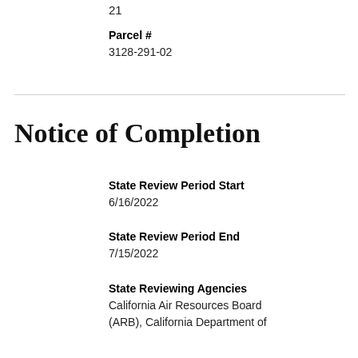21
Parcel #
3128-291-02
Notice of Completion
State Review Period Start
6/16/2022
State Review Period End
7/15/2022
State Reviewing Agencies
California Air Resources Board (ARB), California Department of